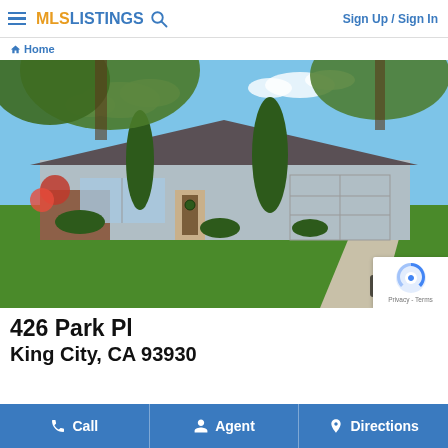MLS LISTINGS  Sign Up / Sign In
Home
[Figure (photo): Exterior photo of a single-story ranch-style home at 426 Park Pl, King City, CA. The house has a gray tile roof, brick accents, large picture window, two-car garage, manicured green lawn, tall cypress trees, and large shade tree overhead. Blue sky with white clouds in background. Photo counter shows 1/1.]
426 Park Pl
King City, CA 93930
Call  Agent  Directions